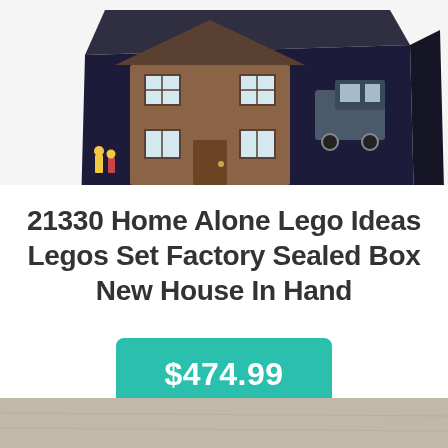[Figure (photo): LEGO Ideas 21330 Home Alone set box showing a detailed house model with minifigures and a police van, photographed from a slight angle against a white background. The box has the LEGO Ideas branding with a green bottom strip.]
21330 Home Alone Lego Ideas Legos Set Factory Sealed Box New House In Hand
$474.99
[Figure (photo): Bottom portion of a second product photo, partially visible, showing a surface texture.]